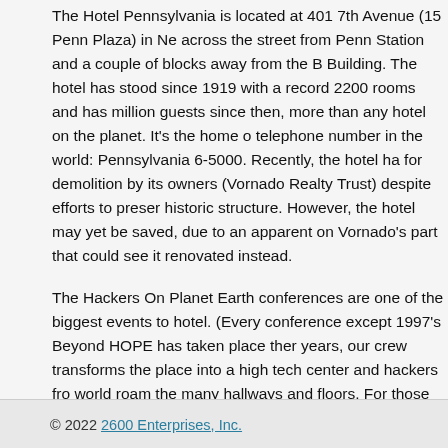The Hotel Pennsylvania is located at 401 7th Avenue (15 Penn Plaza) in Ne across the street from Penn Station and a couple of blocks away from the B Building. The hotel has stood since 1919 with a record 2200 rooms and has million guests since then, more than any hotel on the planet. It's the home o telephone number in the world: Pennsylvania 6-5000. Recently, the hotel ha for demolition by its owners (Vornado Realty Trust) despite efforts to preser historic structure. However, the hotel may yet be saved, due to an apparent on Vornado's part that could see it renovated instead.
The Hackers On Planet Earth conferences are one of the biggest events to hotel. (Every conference except 1997's Beyond HOPE has taken place ther years, our crew transforms the place into a high tech center and hackers fro world roam the many hallways and floors. For those from out of town, it's a experience New York for the first time.
© 2022 2600 Enterprises, Inc.